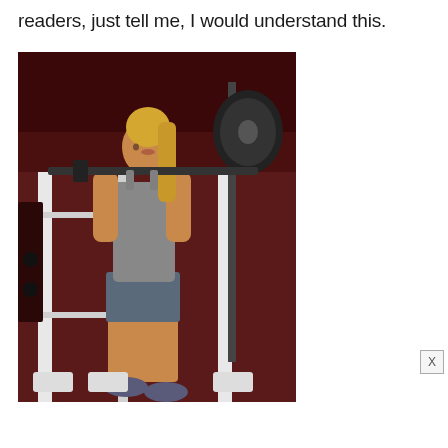readers, just tell me, I would understand this.
[Figure (photo): A fit blonde woman in a gray tank top and gray shorts performing a squat or standing in a Smith machine or squat rack at a gym. She is gripping the barbell across her back/shoulders. The gym has red/dark flooring and white metal rack structure. Weight plates are visible on the right side of the barbell.]